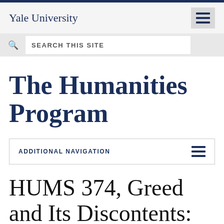Yale University
SEARCH THIS SITE
The Humanities Program
ADDITIONAL NAVIGATION
HUMS 374, Greed and Its Discontents: From